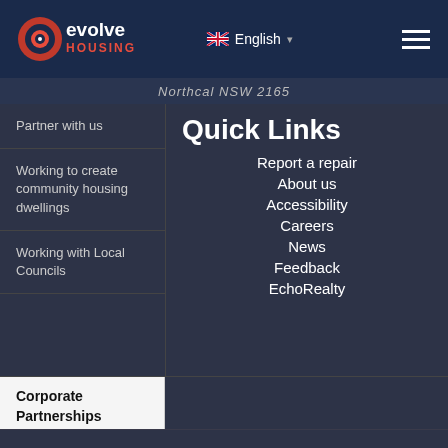Evolve Housing - English
Northcal NSW 2165
Partner with us
Working to create community housing dwellings
Working with Local Councils
Corporate Partnerships
Quick Links
Report a repair
About us
Accessibility
Careers
News
Feedback
EchoRealty
← Back to Creating Homes
[Figure (illustration): Australian Aboriginal flag - black top half, red bottom half, yellow circle in center]
[Figure (illustration): Torres Strait Islander flag - green top and bottom stripes, blue center with white dhari (headdress) symbol]
[Figure (logo): reCAPTCHA privacy badge with up arrow button, Privacy and Terms text]